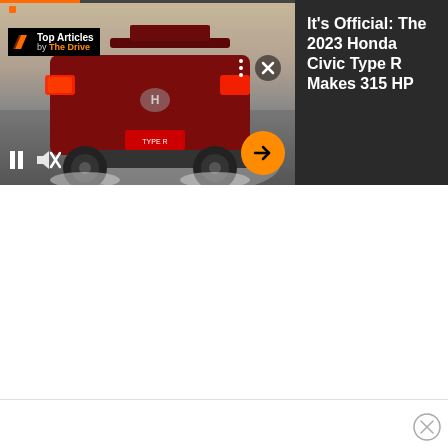[Figure (screenshot): Ad unit showing a red 2023 Honda Civic Type R sports car from the rear on a race track with smoke/burnout. Video player UI with pause button, mute button, dots menu, close X button, and orange arrow CTA button overlaid. Top-left shows 'Top Articles by The Drive' badge. Right panel is dark gray with headline text.]
It's Official: The 2023 Honda Civic Type R Makes 315 HP
[Figure (other): Close circle X button at bottom right for closing the ad unit]